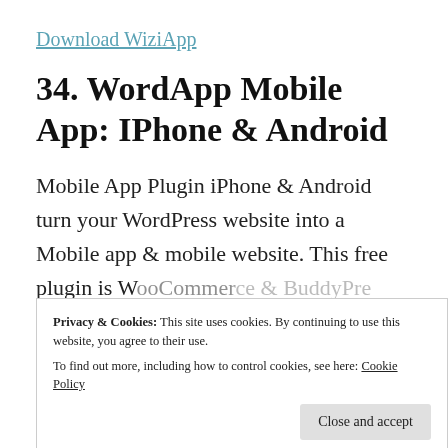Download WiziApp
34. WordApp Mobile App: IPhone & Android
Mobile App Plugin iPhone & Android turn your WordPress website into a Mobile app & mobile website. This free plugin is WooCommerce & BuddyPress...
Privacy & Cookies: This site uses cookies. By continuing to use this website, you agree to their use.
To find out more, including how to control cookies, see here: Cookie Policy
Close and accept
WordApp Mobile App is Built by